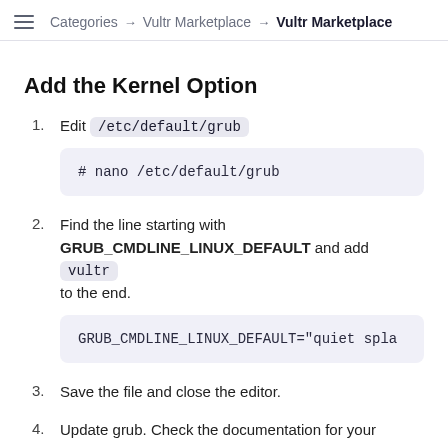Categories → Vultr Marketplace → Vultr Marketplace
Add the Kernel Option
1. Edit /etc/default/grub
# nano /etc/default/grub
2. Find the line starting with GRUB_CMDLINE_LINUX_DEFAULT and add vultr to the end.
GRUB_CMDLINE_LINUX_DEFAULT="quiet spla
3. Save the file and close the editor.
4. Update grub. Check the documentation for your